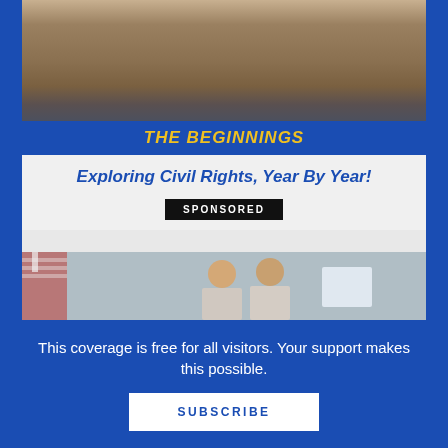[Figure (photo): Book cover image titled 'THE BEGINNINGS' showing people in brown clothing holding a light blue fabric, civil rights themed]
Exploring Civil Rights, Year By Year!
SPONSORED
[Figure (photo): Two women with curly hair smiling and posing back-to-back, wearing matching shirts, with an American flag and a sign visible in the background]
This coverage is free for all visitors. Your support makes this possible.
SUBSCRIBE